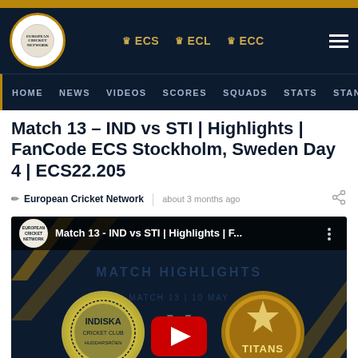European Cricket Network — ECS ECL ECC navigation
HOME NEWS VIDEOS SCORES SQUADS STATS STANDIN
Match 13 - IND vs STI | Highlights | FanCode ECS Stockholm, Sweden Day 4 | ECS22.205
European Cricket Network | about 3 months ago
[Figure (screenshot): YouTube video embed showing Match 13 - IND vs STI | Highlights | F... with Indiska Cricket Club and Titans team logos on dark background with VS text and YouTube play button]